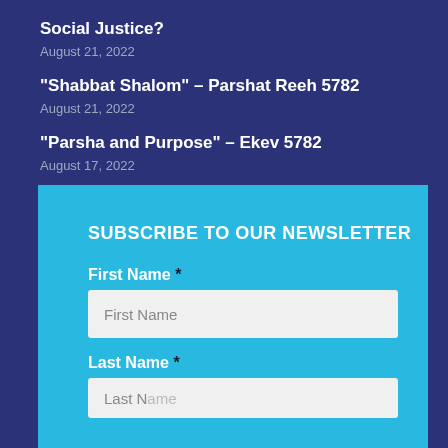Social Justice?
August 21, 2022
“Shabbat Shalom” – Parshat Reeh 5782
August 21, 2022
“Parsha and Purpose” – Ekev 5782
August 17, 2022
SUBSCRIBE TO OUR NEWSLETTER
First Name *
First Name
Last Name *
Last Name